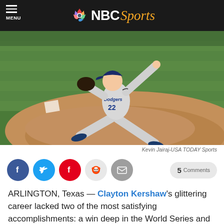NBC Sports
[Figure (photo): Clayton Kershaw (Dodgers pitcher) in full wind-up on the mound, wearing grey Dodgers uniform, pitching during a World Series game at Globe Life Field in Arlington, Texas.]
Kevin Jairaj-USA TODAY Sports
ARLINGTON, Texas — Clayton Kershaw's glittering career lacked two of the most satisfying accomplishments: a win deep in the World Series and a championship ring.